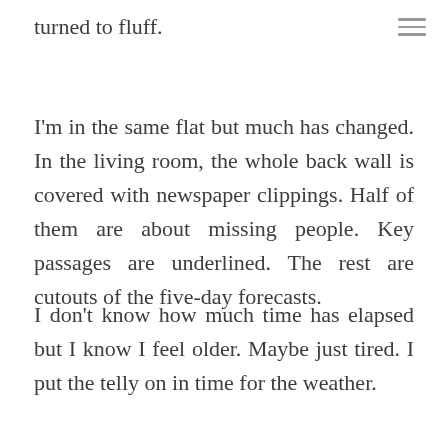turned to fluff.
I'm in the same flat but much has changed. In the living room, the whole back wall is covered with newspaper clippings. Half of them are about missing people. Key passages are underlined. The rest are cutouts of the five-day forecasts.
I don't know how much time has elapsed but I know I feel older. Maybe just tired. I put the telly on in time for the weather.